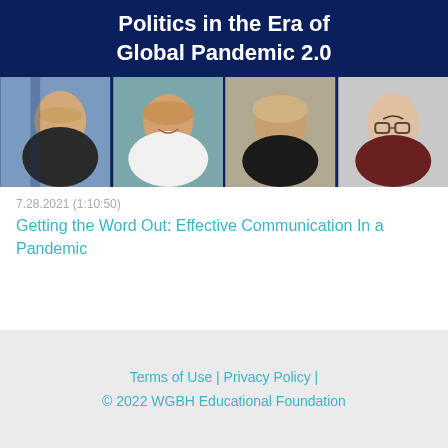Politics in the Era of Global Pandemic 2.0
[Figure (photo): Four headshot photos of panel speakers lined up in a row against a dark blue banner background]
7.28.2021 (1:10:50)
Getting the Word Out: Effective Communication In a Pandemic
Terms of Use | Privacy Policy | © 2022 WGBH Educational Foundation